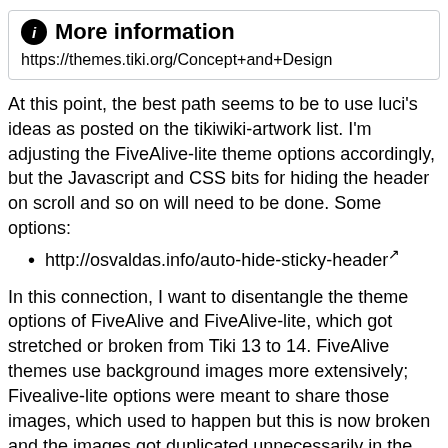More information
https://themes.tiki.org/Concept+and+Design
At this point, the best path seems to be to use luci's ideas as posted on the tikiwiki-artwork list. I'm adjusting the FiveAlive-lite theme options accordingly, but the Javascript and CSS bits for hiding the header on scroll and so on will need to be done. Some options:
http://osvaldas.info/auto-hide-sticky-header↗
In this connection, I want to disentangle the theme options of FiveAlive and FiveAlive-lite, which got stretched or broken from Tiki 13 to 14. FiveAlive themes use background images more extensively; Fivealive-lite options were meant to share those images, which used to happen but this is now broken and the images got duplicated unnecessarily in the relocation of